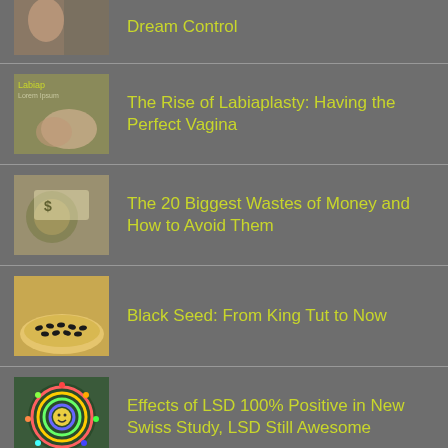Dream Control
The Rise of Labiaplasty: Having the Perfect Vagina
The 20 Biggest Wastes of Money and How to Avoid Them
Black Seed: From King Tut to Now
Effects of LSD 100% Positive in New Swiss Study, LSD Still Awesome
Fresh Air: The Natural, Three-Plant Air Purifying System